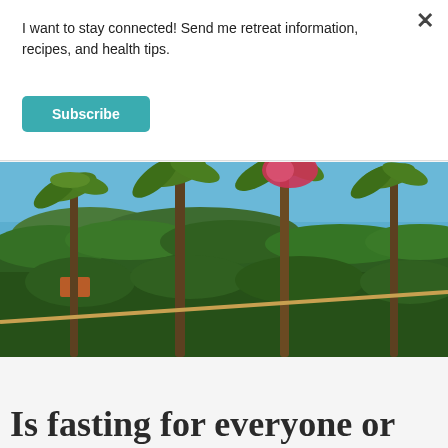I want to stay connected! Send me retreat information, recipes, and health tips.
Subscribe
[Figure (photo): Tropical landscape photo showing tall palm trees in the foreground with a lush green jungle, scattered buildings, and the ocean visible in the background under a clear blue sky. A colorful kite or balloon is visible near the top center.]
Is fasting for everyone or